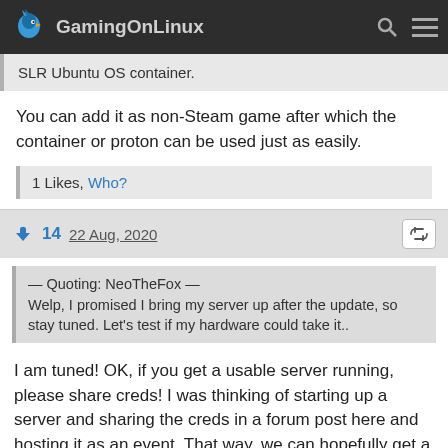GamingOnLinux
SLR Ubuntu OS container.
You can add it as non-Steam game after which the container or proton can be used just as easily.
1 Likes, Who?
14 22 Aug, 2020
— Quoting: NeoTheFox — Welp, I promised I bring my server up after the update, so stay tuned. Let's test if my hardware could take it..
I am tuned! OK, if you get a usable server running, please share creds! I was thinking of starting up a server and sharing the creds in a forum post here and hosting it as an event. That way, we can hopefully get a handful of people to start and play at the same time!